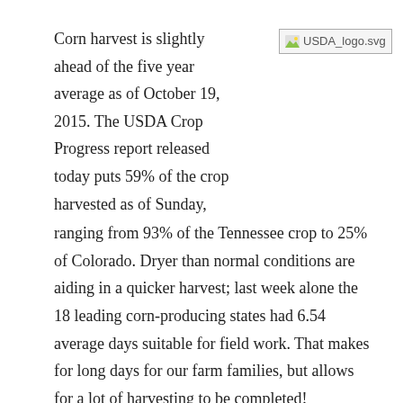Corn harvest is slightly ahead of the five year average as of October 19, 2015. The USDA Crop Progress report released today puts 59% of the crop harvested as of Sunday, ranging from 93% of the Tennessee crop to 25% of Colorado. Dryer than normal conditions are aiding in a quicker harvest; last week alone the 18 leading corn-producing states had 6.54 average days suitable for field work. That makes for long days for our farm families, but allows for a lot of harvesting to be completed!
[Figure (logo): USDA logo image placeholder labeled USDA_logo.svg]
NCGA President Chip Bowling, a grower from Maryland, said, “At this time, the national average yield is estimated to be the